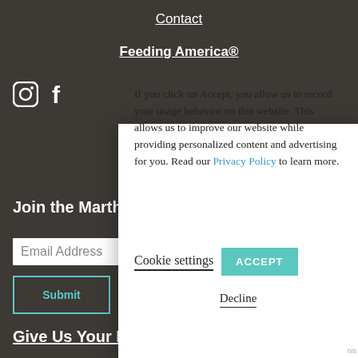Contact
Feeding America®
[Figure (illustration): Instagram and Facebook social media icons in white on dark background]
Join the Martha
Email Address
Submit
Give Us Your F
If you click on Accept, you allow us to record your usage behavior on this website. This allows us to improve our website while providing personalized content and advertising for you. Read our Privacy Policy to learn more.
Cookie settings
ACCEPT
Decline